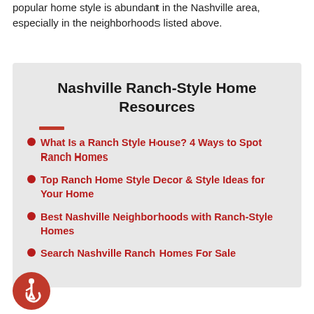popular home style is abundant in the Nashville area, especially in the neighborhoods listed above.
Nashville Ranch-Style Home Resources
What Is a Ranch Style House? 4 Ways to Spot Ranch Homes
Top Ranch Home Style Decor & Style Ideas for Your Home
Best Nashville Neighborhoods with Ranch-Style Homes
Search Nashville Ranch Homes For Sale
[Figure (logo): Accessibility icon — red circle with wheelchair user symbol in white]